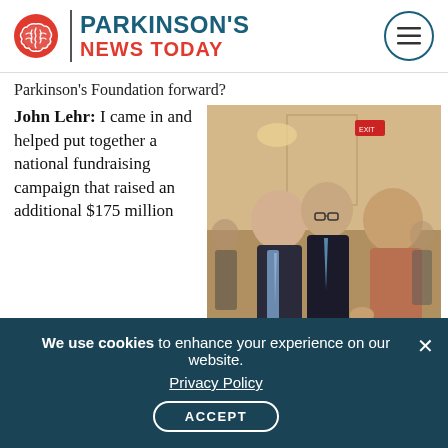Parkinson's News Today
Parkinson's Foundation forward?
John Lehr: I came in and helped put together a national fundraising campaign that raised an additional $175 million
[Figure (photo): Three people standing and conversing at an event, two men and one woman, wearing formal business attire]
John L. Lehr (middle), president and CEO of
We use cookies to enhance your experience on our website. Privacy Policy ACCEPT